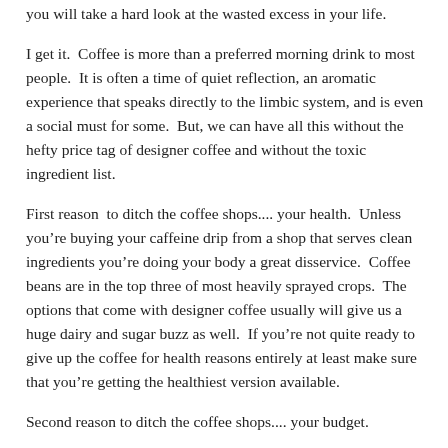you will take a hard look at the wasted excess in your life.
I get it.  Coffee is more than a preferred morning drink to most people.  It is often a time of quiet reflection, an aromatic experience that speaks directly to the limbic system, and is even a social must for some.  But, we can have all this without the hefty price tag of designer coffee and without the toxic ingredient list.
First reason  to ditch the coffee shops.... your health.  Unless you’re buying your caffeine drip from a shop that serves clean ingredients you’re doing your body a great disservice.  Coffee beans are in the top three of most heavily sprayed crops.  The options that come with designer coffee usually will give us a huge dairy and sugar buzz as well.  If you’re not quite ready to give up the coffee for health reasons entirely at least make sure that you’re getting the healthiest version available.
Second reason to ditch the coffee shops.... your budget.